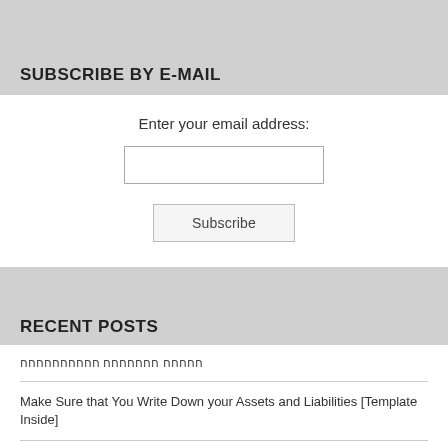SUBSCRIBE BY E-MAIL
Enter your email address:
Subscribe
RECENT POSTS
חחחחח חחחחחחח חחחחחחחחחח
Make Sure that You Write Down your Assets and Liabilities [Template Inside]
On Social Distancing During Covid 2019 | חחחחחחחחחח חחחחח